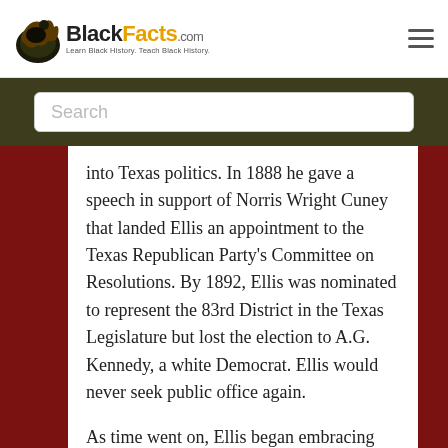BlackFacts.com — Learn Black History. Teach Black History.
Search
into Texas politics. In 1888 he gave a speech in support of Norris Wright Cuney that landed Ellis an appointment to the Texas Republican Party's Committee on Resolutions. By 1892, Ellis was nominated to represent the 83rd District in the Texas Legislature but lost the election to A.G. Kennedy, a white Democrat. Ellis would never seek public office again.
As time went on, Ellis began embracing ideas of African American colonization abroad,